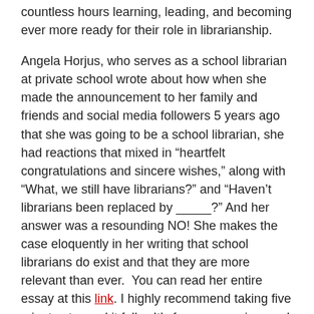countless hours learning, leading, and becoming ever more ready for their role in librarianship.
Angela Horjus, who serves as a school librarian at private school wrote about how when she made the announcement to her family and friends and social media followers 5 years ago that she was going to be a school librarian, she had reactions that mixed in “heartfelt congratulations and sincere wishes,” along with “What, we still have librarians?” and “Haven’t librarians been replaced by _____?” And her answer was a resounding NO! She makes the case eloquently in her writing that school librarians do exist and that they are more relevant than ever. You can read her entire essay at this link. I highly recommend taking five minutes to read it fully. It’s funny, engaging, and you will see yourself reflected in her writings about how she is a partner, instructional leader, and a teacher!
Meredith McGann created a Weebly page to show of her thoughts on school librarianship. I, for one, love that she started with librarians as leaders! Because, yes, we are leaders! She provides some great insight into what makes a